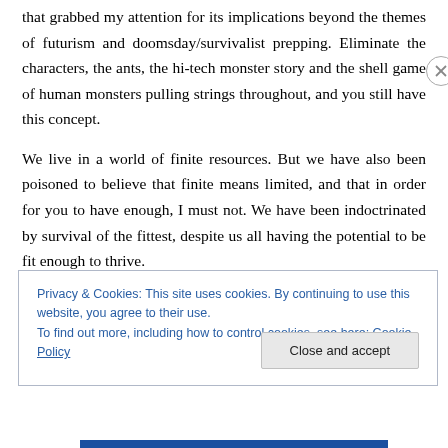that grabbed my attention for its implications beyond the themes of futurism and doomsday/survivalist prepping. Eliminate the characters, the ants, the hi-tech monster story and the shell game of human monsters pulling strings throughout, and you still have this concept.
We live in a world of finite resources. But we have also been poisoned to believe that finite means limited, and that in order for you to have enough, I must not. We have been indoctrinated by survival of the fittest, despite us all having the potential to be fit enough to thrive.
Privacy & Cookies: This site uses cookies. By continuing to use this website, you agree to their use.
To find out more, including how to control cookies, see here: Cookie Policy
Close and accept